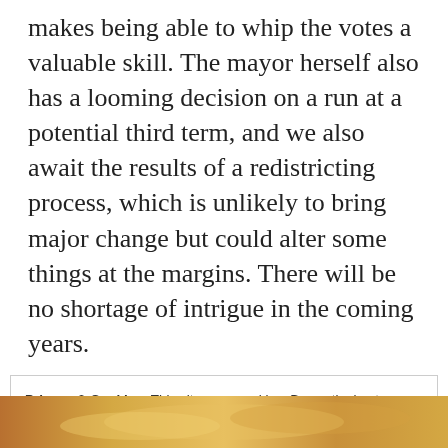makes being able to whip the votes a valuable skill. The mayor herself also has a looming decision on a run at a potential third term, and we also await the results of a redistricting process, which is unlikely to bring major change but could alter some things at the margins. There will be no shortage of intrigue in the coming years.
Privacy & Cookies: This site uses cookies. By continuing to use this website, you agree to their use. To find out more, including how to control cookies, see here: Cookie Policy
Close and accept
[Figure (photo): Partial view of a food photo strip at the bottom of the page showing what appears to be a golden/yellow baked or fried food item]